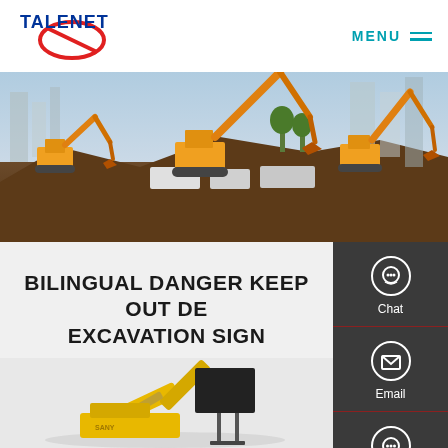TALENET | MENU
[Figure (photo): Construction site with multiple orange excavators/cranes operating on a dirt mound, city buildings in background]
BILINGUAL DANGER KEEP OUT DEEP EXCAVATION SIGN
[Figure (photo): Yellow excavator machinery / product image at bottom of page]
[Figure (infographic): Sidebar with Chat, Email, and Contact icons on dark background]